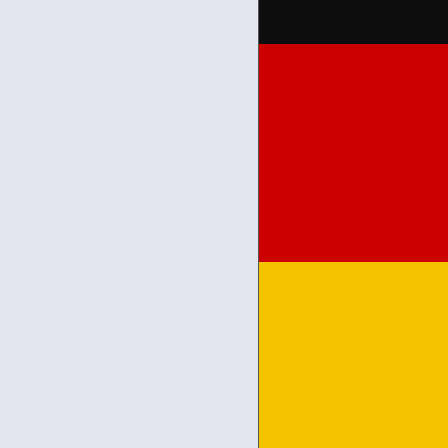[Figure (illustration): Left panel with light blue-grey background color, approximately half the page width]
[Figure (illustration): German flag colors shown as horizontal bands: black on top, red in middle, yellow/gold on bottom, displayed in right panel]
BLACK=MOON
YELLOW=SUN
RED=MARS
[Figure (illustration): Dark navy blue panel at bottom right with orange text 'MARS F' (partially visible)]